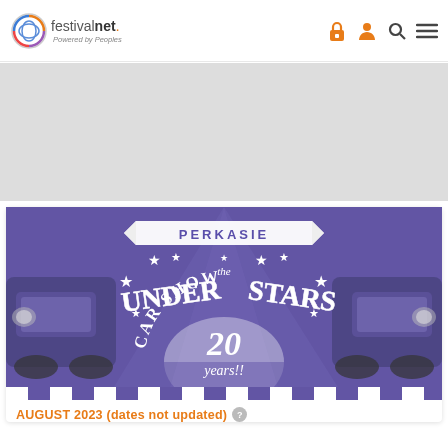festivalnet. Powered by Peoples
[Figure (illustration): Perkasie Under the Stars Car Show 20 years!! promotional poster with purple background, classic cars, stars, and checkered flag border]
AUGUST 2023 (dates not updated)